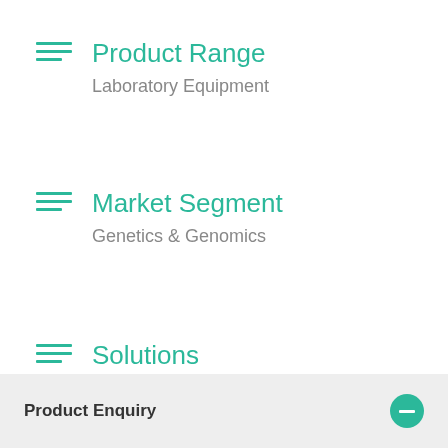Product Range
Laboratory Equipment
Market Segment
Genetics & Genomics
Solutions
Life Science
Product Enquiry